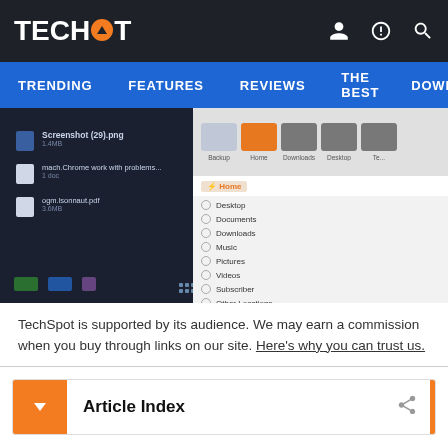TECHSPOT
TRENDING   FEATURES   REVIEWS   THE BEST   DOWNLC
[Figure (screenshot): Screenshot of a Windows/Linux file manager interface showing file listings on the left and folder thumbnails on the right with an orange highlighted selection.]
TechSpot is supported by its audience. We may earn a commission when you buy through links on our site. Here's why you can trust us.
Article Index
Dual booting is a great way to get the best of both worlds of Windows and Linux. It's relatively straightforward to install the two operating